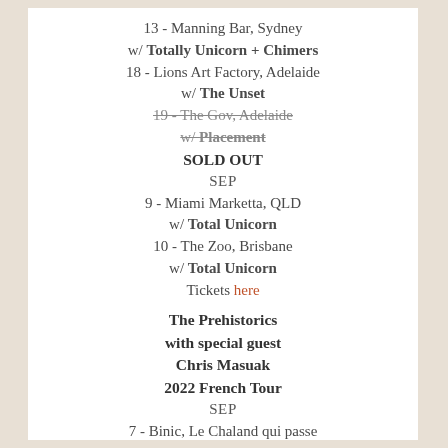13 - Manning Bar, Sydney
w/ Totally Unicorn + Chimers
18 - Lions Art Factory, Adelaide
w/ The Unset
19 - The Gov, Adelaide (strikethrough)
w/ Placement (strikethrough)
SOLD OUT
SEP
9 - Miami Marketta, QLD
w/ Total Unicorn
10 - The Zoo, Brisbane
w/ Total Unicorn
Tickets here
The Prehistorics with special guest Chris Masuak 2022 French Tour
SEP
7 - Binic, Le Chaland qui passe
8 - Le Havre, McDaids
w/ The Gentlemen Of Leisure
9 - Paris, L'International